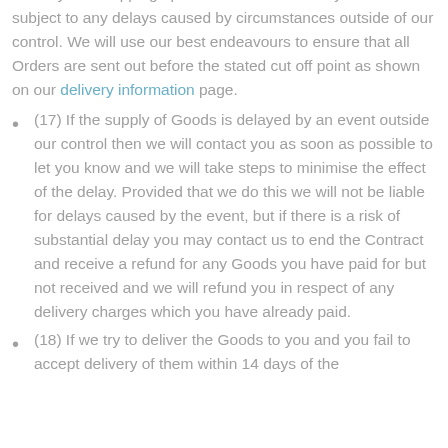delivery and shipping options are estimates only and are subject to any delays caused by circumstances outside of our control. We will use our best endeavours to ensure that all Orders are sent out before the stated cut off point as shown on our delivery information page.
(17) If the supply of Goods is delayed by an event outside our control then we will contact you as soon as possible to let you know and we will take steps to minimise the effect of the delay. Provided that we do this we will not be liable for delays caused by the event, but if there is a risk of substantial delay you may contact us to end the Contract and receive a refund for any Goods you have paid for but not received and we will refund you in respect of any delivery charges which you have already paid.
(18) If we try to deliver the Goods to you and you fail to accept delivery of them within 14 days of the